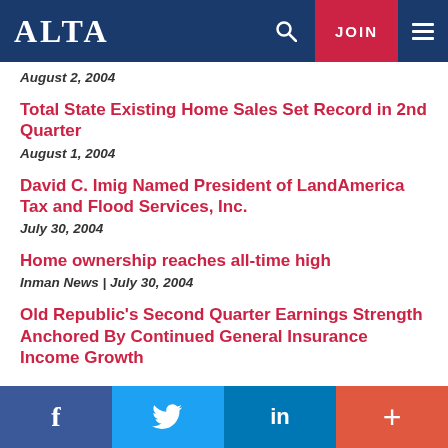ALTA — navigation bar with logo, search, JOIN, and menu
August 2, 2004
Total State Existing Home Sales Set Record in 2nd Quarter
August 1, 2004
David C. Imig Named President of LandAmerica Tax and Flood Services, Inc.
July 30, 2004
Home ownership reaches all-time high
Inman News  |  July 30, 2004
Old Republic's Second Quarter Earnings Strength Anchored By Continued General Insurance Income Growth
Social share bar: f  🐦  in  +